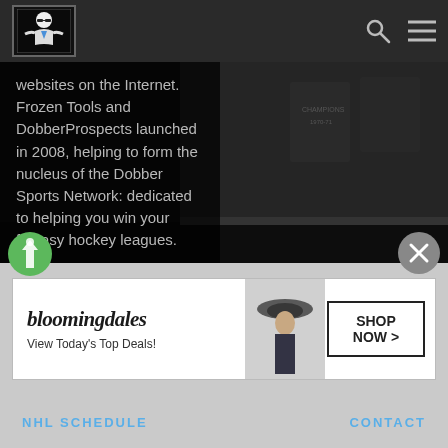DobberHockey logo navigation bar with search and menu icons
[Figure (screenshot): Dark hockey arena background with banners visible on right side]
websites on the Internet. Frozen Tools and DobberProspects launched in 2008, helping to form the nucleus of the Dobber Sports Network: dedicated to helping you win your fantasy hockey leagues.
[Figure (logo): Green circular Dobber Hockey icon button, bottom left]
[Figure (other): Gray circular X close button, bottom right]
GAMES
CONTACT
[Figure (screenshot): Bloomingdale's advertisement banner: bloomingdales, View Today's Top Deals!, SHOP NOW >]
NHL SCHEDULE
CONTACT